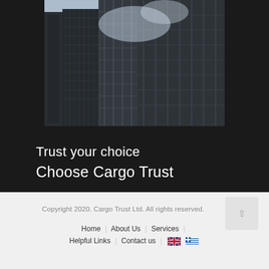[Figure (photo): Looking up at tall glass skyscrapers against a light blue sky, dark tones]
Trust your choice
Choose Cargo Trust
Copyright 2020. Cargo Trust Ltd. All rights reserved.
Home | About Us | Services | Helpful Links | Contact us